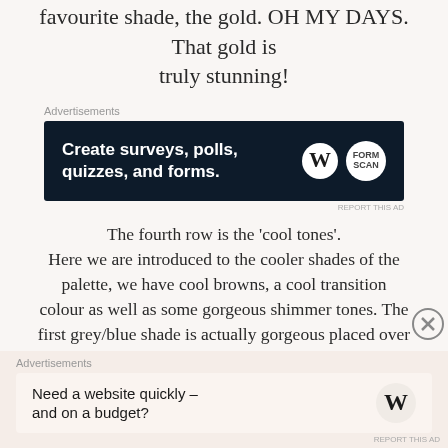...col and colour drawn, this row is passion. My favourite shade, the gold. OH MY DAYS. That gold is truly stunning!
[Figure (screenshot): Dark navy advertisement banner for WordPress survey/forms tool reading 'Create surveys, polls, quizzes, and forms.' with WordPress logo and a circular badge on the right.]
The fourth row is the 'cool tones'. Here we are introduced to the cooler shades of the palette, we have cool browns, a cool transition colour as well as some gorgeous shimmer tones. The first grey/blue shade is actually gorgeous placed over a red brown to give a duochrome effect to your eye look. And the other shimmers are similarly just as
[Figure (screenshot): Light beige advertisement banner reading 'Need a website quickly – and on a budget?' with WordPress logo on the right.]